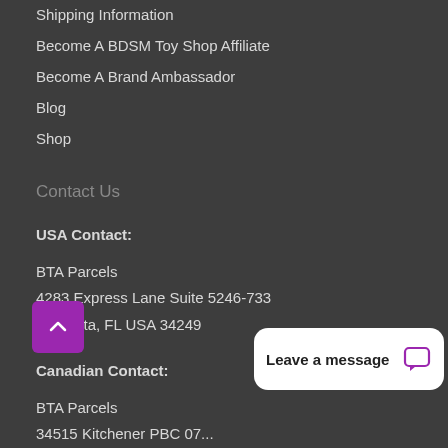Shipping Information
Become A BDSM Toy Shop Affiliate
Become A Brand Ambassador
Blog
Shop
Contact Us
USA Contact:
BTA Parcels
4283 Express Lane Suite 5246-733
Sarasota, FL USA 34249
Canadian Contact:
BTA Parcels
34515 Kitchener PBC 07...